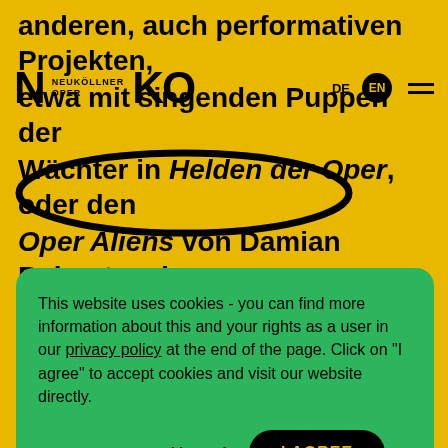anderen, auch performativen Projekten, etwa mit singenden Puppen der Wächter in Helden der Oper, oder den Oper Aliens von Damian Rebgetz oder dem wilden, skrupellosen Totaltheater der Julia Lwowski und ihres Teams, mit
[Figure (screenshot): Neuköllner Oper navigation bar with logo letters N and K, NEUKÖLLNER OPER text, DE language option, EN language option in black circle, and hamburger menu]
[Figure (illustration): Black oval/ellipse outline drawn around the text 'Aliens von Damian' area]
This website uses cookies - you can find more information about this and your rights as a user in our privacy policy at the end of the page. Click on "I agree" to accept cookies and visit our website directly.
Necessary cookies only
I AGREE
gemeinsam probieren wir Formate und